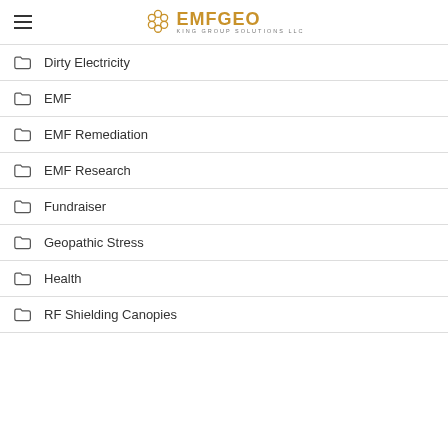EMFGEO KING GROUP SOLUTIONS LLC
Dirty Electricity
EMF
EMF Remediation
EMF Research
Fundraiser
Geopathic Stress
Health
RF Shielding Canopies